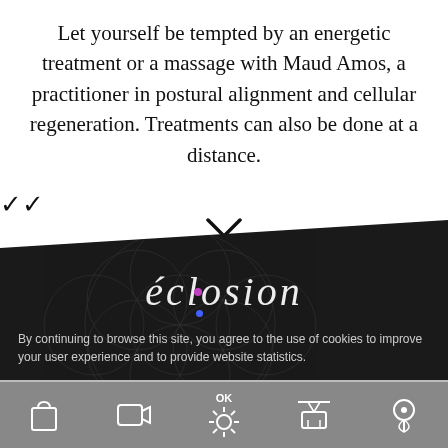Let yourself be tempted by an energetic treatment or a massage with Maud Amos, a practitioner in postural alignment and cellular regeneration. Treatments can also be done at a distance.
[Figure (screenshot): Dark website footer section with flower of life geometric pattern background, decorative script logo reading 'éclosion', cookie consent notice, legal notice link, BOOK button, and a bottom navigation bar with shopping bag, video, OK/sun, cable car, and map pin icons.]